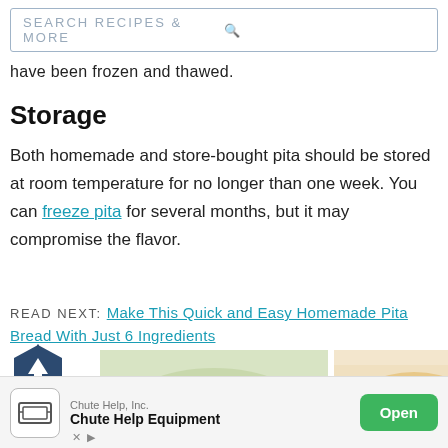SEARCH RECIPES & MORE
have been frozen and thawed.
Storage
Both homemade and store-bought pita should be stored at room temperature for no longer than one week. You can freeze pita for several months, but it may compromise the flavor.
READ NEXT: Make This Quick and Easy Homemade Pita Bread With Just 6 Ingredients
[Figure (screenshot): Back to top button with upward arrow icon and 'BACK TO TOP' label]
[Figure (photo): Food images showing salad and pita bread]
[Figure (infographic): Advertisement banner for Chute Help Equipment by Chute Help, Inc. with Open button]